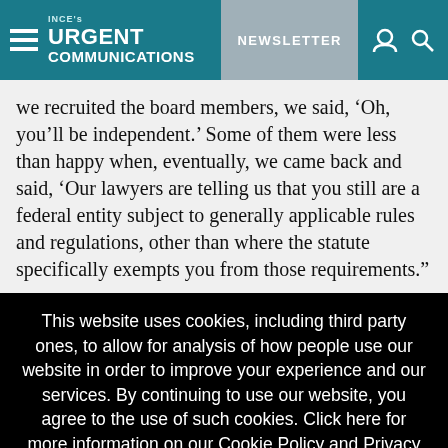INCE's URGENT COMMUNICATIONS | NEWSLETTER
we recruited the board members, we said, ‘Oh, you’ll be independent.’ Some of them were less than happy when, eventually, we came back and said, ‘Our lawyers are telling us that you still are a federal entity subject to generally applicable rules and regulations, other than where the statute specifically exempts you from those requirements.”
This website uses cookies, including third party ones, to allow for analysis of how people use our website in order to improve your experience and our services. By continuing to use our website, you agree to the use of such cookies. Click here for more information on our Cookie Policy and Privacy Policy
Accept and Close ×
Your browser settings do not allow cross-site tracking for advertising. Click on this page to allow AdRoll to use cross-site tracking to tailor ads to you. Learn more or opt out of this AdRoll tracking by clicking here. This message only appears once.